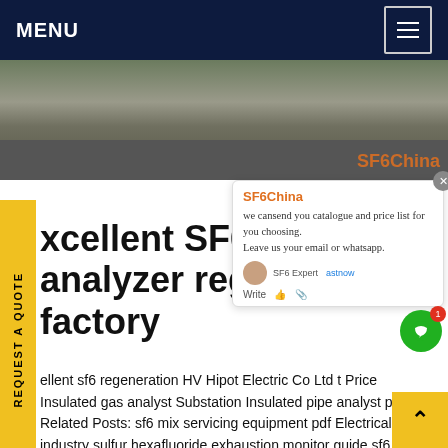MENU
[Figure (photo): Outdoor road scene with yellow truck/construction vehicle, shadows on asphalt road, SF6China watermark in orange]
xcellent SF6 multi analyzer regeneration factory
ellent sf6 regeneration HV Hipot Electric Co Ltd t Price Insulated gas analyst Substation Insulated pipe analyst prices Related Posts: sf6 mix servicing equipment pdf Electrical industry sulfur hexafluoride exhaustion monitor guide sf6 mixture multi analyserGet price